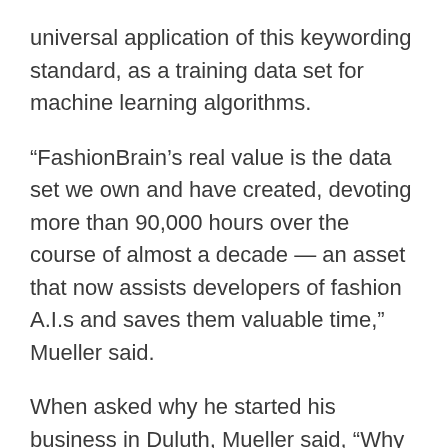universal application of this keywording standard, as a training data set for machine learning algorithms.
“FashionBrain’s real value is the data set we own and have created, devoting more than 90,000 hours over the course of almost a decade — an asset that now assists developers of fashion A.I.s and saves them valuable time,” Mueller said.
When asked why he started his business in Duluth, Mueller said, “Why not Duluth?”
“It is a beautiful place—and modern technology allows us to do business and develop our business